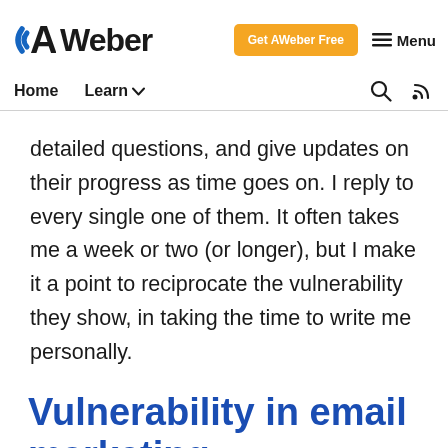AWeber — Get AWeber Free — Menu
Home  Learn
detailed questions, and give updates on their progress as time goes on. I reply to every single one of them. It often takes me a week or two (or longer), but I make it a point to reciprocate the vulnerability they show, in taking the time to write me personally.
Vulnerability in email marketing